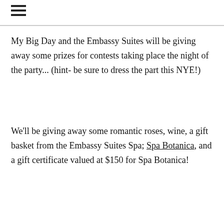≡
My Big Day and the Embassy Suites will be giving away some prizes for contests taking place the night of the party... (hint- be sure to dress the part this NYE!)
We'll be giving away some romantic roses, wine, a gift basket from the Embassy Suites Spa; Spa Botanica, and a gift certificate valued at $150 for Spa Botanica!